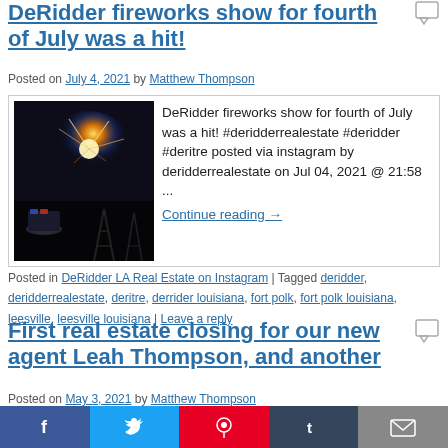DeRidder fireworks show for fourth of July was a hit!
Posted on July 4, 2021 by Matthew Thompson
[Figure (photo): Night photo of fireworks show in DeRidder, with silhouettes of equipment and police vehicles visible.]
DeRidder fireworks show for fourth of July was a hit! #deridderrealestate #deridder #deritre posted via instagram by deridderrealestate on Jul 04, 2021 @ 21:58 ...
Continue reading →
Posted in DeRidder LA Real Estate on Instagram | Tagged deridder, deridderrealestate, deritre, derrider louisiana, fort polk, fort polk louisiana, leesville, leesville louisiana | Leave a reply
First real estate closing for our new agent Leah Thompson, and another
Posted on May 3, 2021 by Matthew Thompson